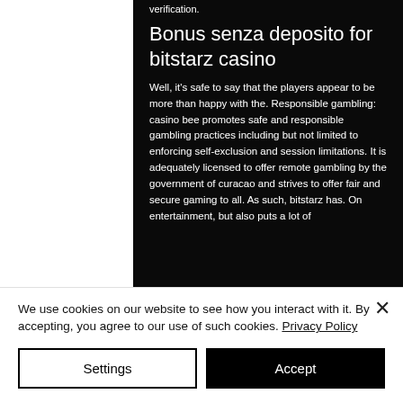verification.
Bonus senza deposito for bitstarz casino
Well, it's safe to say that the players appear to be more than happy with the. Responsible gambling: casino bee promotes safe and responsible gambling practices including but not limited to enforcing self-exclusion and session limitations. It is adequately licensed to offer remote gambling by the government of curacao and strives to offer fair and secure gaming to all. As such, bitstarz has. On entertainment, but also puts a lot of
We use cookies on our website to see how you interact with it. By accepting, you agree to our use of such cookies. Privacy Policy
Settings
Accept